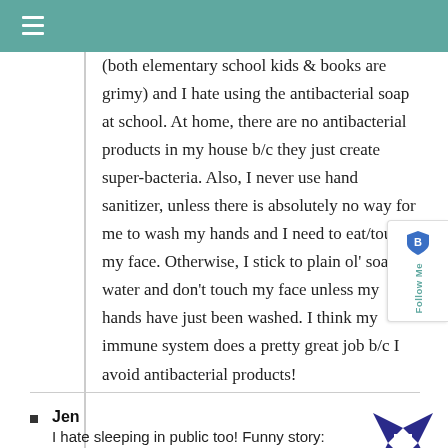≡
(both elementary school kids & books are grimy) and I hate using the antibacterial soap at school. At home, there are no antibacterial products in my house b/c they just create super-bacteria. Also, I never use hand sanitizer, unless there is absolutely no way for me to wash my hands and I need to eat/touch my face. Otherwise, I stick to plain ol' soap & water and don't touch my face unless my hands have just been washed. I think my immune system does a pretty great job b/c I avoid antibacterial products!
[Figure (other): Follow Me widget with shield/badge icon in teal/blue]
Jen — I hate sleeping in public too! Funny story:
[Figure (illustration): Purple/blue star-like decorative avatar icon for commenter Jen]